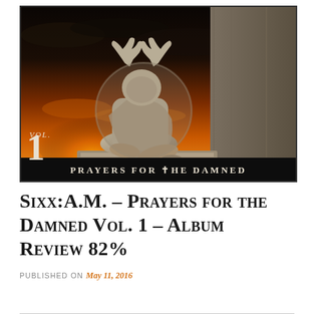[Figure (illustration): Album cover for Sixx:A.M. – Prayers for the Damned Vol. 1. Shows a stone angel statue with praying hands, seated, draped in robes, against a dramatic orange and dark sky sunset. Bottom left shows 'Vol. 1' in large text, and bottom band reads 'PRAYERS FOR THE DAMNED' in spaced serif capitals.]
Sixx:A.M. – Prayers for the Damned Vol. 1 – Album Review 82%
PUBLISHED ON May 11, 2016